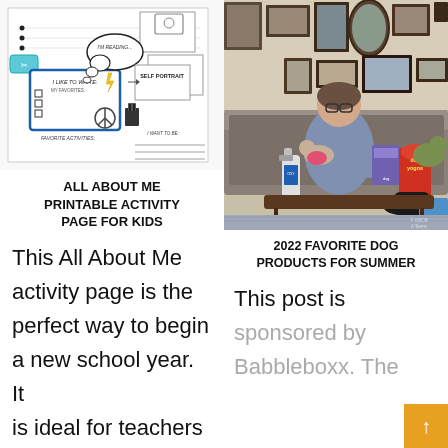[Figure (illustration): Line-art worksheet illustration showing an 'All About Me' activity page with thought bubbles, self portrait box, favorite activities section, and decorative elements like a peace sign, binder clips, and a camera icon.]
ALL ABOUT ME PRINTABLE ACTIVITY PAGE FOR KIDS
This All About Me activity page is the perfect way to begin a new school year. It is ideal for teachers and homeschool families to use as a first day of school
[Figure (photo): Photo of a woman sitting on a couch holding a small dog, with dog products including a spray bottle, a box of dog training pads, dog treats (Yogos), and a black cap on a coffee table. Other dogs are visible in the background. Family photos line the wall behind her.]
2022 FAVORITE DOG PRODUCTS FOR SUMMER
This post is sponsored by Babbleboxx. The